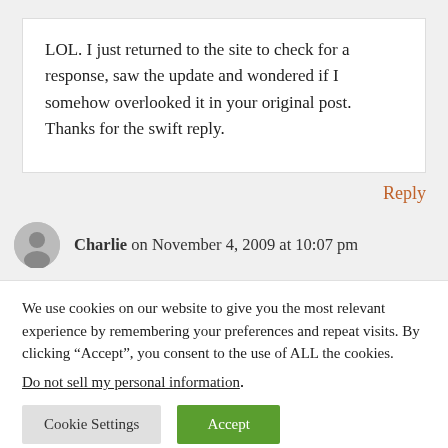LOL. I just returned to the site to check for a response, saw the update and wondered if I somehow overlooked it in your original post. Thanks for the swift reply.
Reply
Charlie on November 4, 2009 at 10:07 pm
We use cookies on our website to give you the most relevant experience by remembering your preferences and repeat visits. By clicking “Accept”, you consent to the use of ALL the cookies.
Do not sell my personal information.
Cookie Settings
Accept